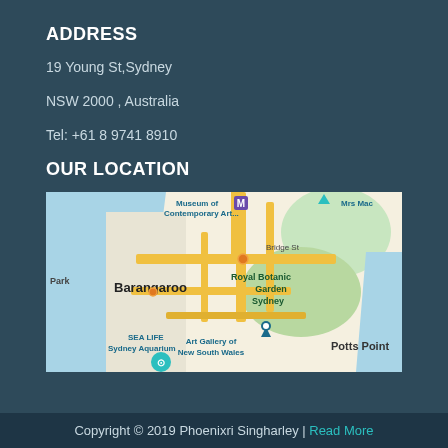ADDRESS
19 Young St,Sydney
NSW 2000 , Australia
Tel: +61 8 9741 8910
OUR LOCATION
[Figure (map): Google Maps view of Sydney CBD area showing Barangaroo, Royal Botanic Garden Sydney, Museum of Contemporary Art, SEA LIFE Sydney Aquarium, Art Gallery of New South Wales, Potts Point, Mrs Macquaries Point area.]
Copyright © 2019 Phoenixri Singharley | Read More